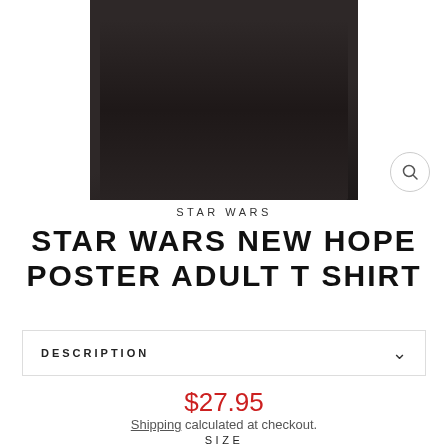[Figure (photo): Dark charcoal/black t-shirt folded, cropped view showing upper portion of shirt against white background, with magnifying glass zoom icon in bottom-right]
STAR WARS
STAR WARS NEW HOPE POSTER ADULT T SHIRT
DESCRIPTION
$27.95
Shipping calculated at checkout.
SIZE